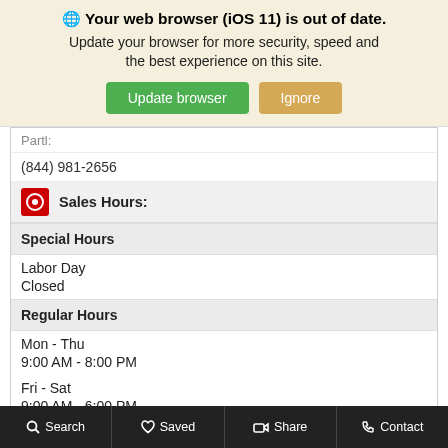[Figure (screenshot): Browser update notification banner with globe icon, bold title 'Your web browser (iOS 11) is out of date.', subtitle text, and two buttons: 'Update browser' (green) and 'Ignore' (tan/gold).]
(844) 981-2656
Sales Hours:
Special Hours
Labor Day
Closed
Regular Hours
Mon - Thu
9:00 AM - 8:00 PM
Fri - Sat
9:00 AM - 6:00 PM
Sun
11:00 AM - 5:00 PM
Search   Saved   Share   Contact